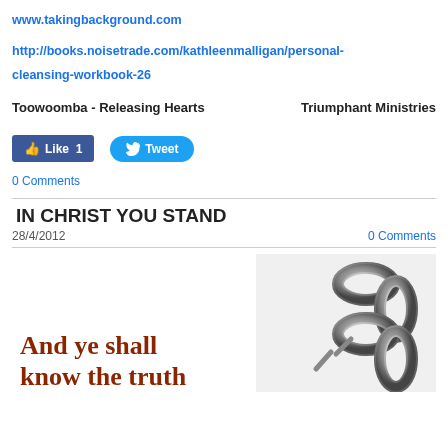www.takingbackground.com
http://books.noisetrade.com/kathleenmalligan/personal-cleansing-workbook-26
Triumphant Ministries
Toowoomba - Releasing Hearts
[Figure (screenshot): Facebook Like button showing Like 1 and Twitter Tweet button]
0 Comments
IN CHRIST YOU STAND
28/4/2012
0 Comments
[Figure (photo): Image showing broken chain on right side and text 'And ye shall know the truth' in dark red on left side]